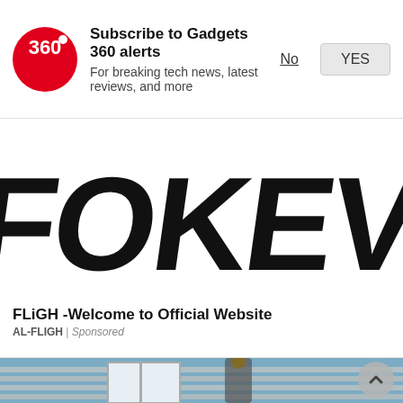Subscribe to Gadgets 360 alerts
For breaking tech news, latest reviews, and more
[Figure (illustration): Large black graffiti-style handwritten text reading 'FOKEVA' or similar on white background]
FLiGH -Welcome to Official Website
AL-FLIGH | Sponsored
[Figure (photo): Person working on the exterior of a house, appears to be installing or repairing trim near a window, blue sky visible]